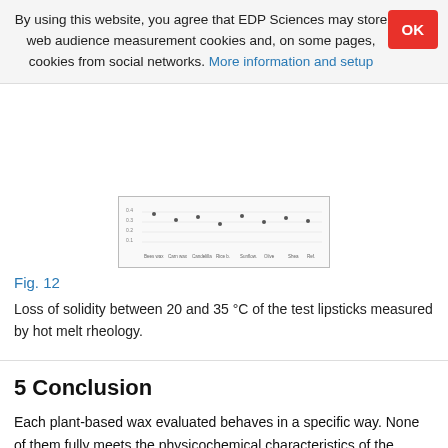By using this website, you agree that EDP Sciences may store web audience measurement cookies and, on some pages, cookies from social networks. More information and setup
[Figure (other): Partial scatter/dot plot chart showing loss of solidity measurements, partially obscured by cookie banner overlay]
Fig. 12
Loss of solidity between 20 and 35 °C of the test lipsticks measured by hot melt rheology.
5 Conclusion
Each plant-based wax evaluated behaves in a specific way. None of them fully meets the physicochemical characteristics of the synthetic reference wax. The textures, the